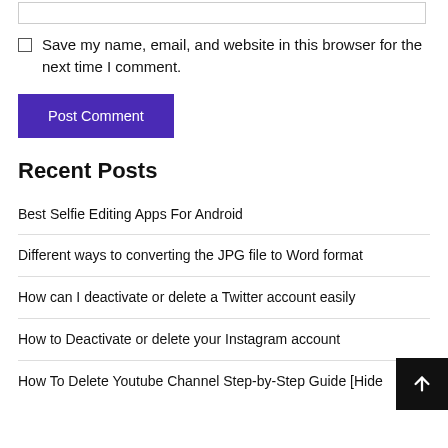[text input box]
Save my name, email, and website in this browser for the next time I comment.
Post Comment
Recent Posts
Best Selfie Editing Apps For Android
Different ways to converting the JPG file to Word format
How can I deactivate or delete a Twitter account easily
How to Deactivate or delete your Instagram account
How To Delete Youtube Channel Step-by-Step Guide [Hide